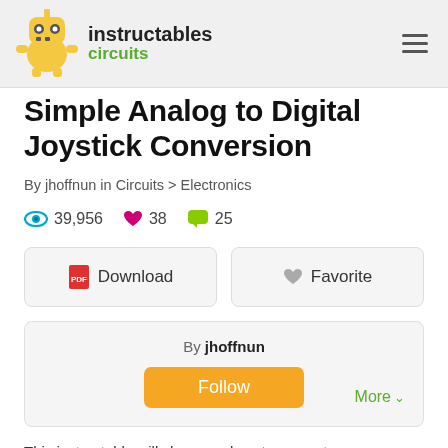instructables circuits
Simple Analog to Digital Joystick Conversion
By jhoffnun in Circuits > Electronics
39,956 views  38 favorites  25 comments
Download  Favorite
By jhoffnun  Follow  More
This instructable will show you how to convert...